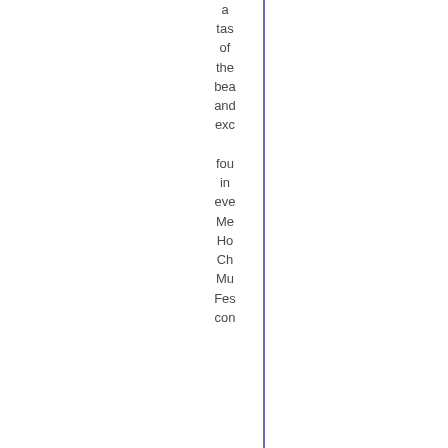a tas of the bea and exc fou in eve Me Ho Ch Mu Fes con